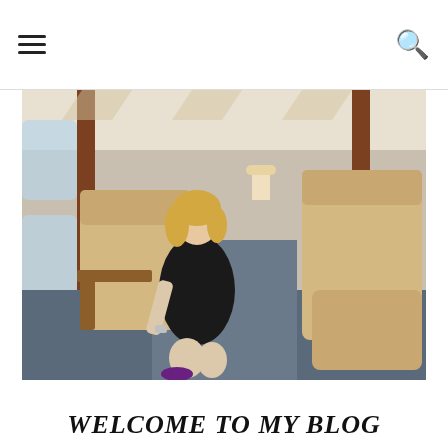☰ [menu] | 🔍 [search]
[Figure (photo): Woman in black dress seated in luxury private jet interior with cream leather chairs, wood trim, and blue carpet]
WELCOME TO MY BLOG